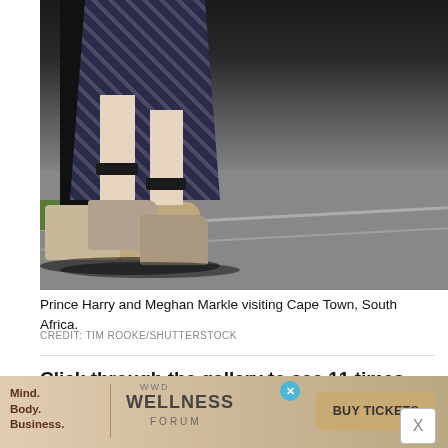[Figure (photo): Photo of the lower bodies and feet of Prince Harry and Meghan Markle walking on a road in Cape Town, South Africa. Prince Harry wears dark trousers and beige/tan sneakers. Meghan Markle wears a black-and-white patterned dress and wedge sandals with ankle ties. A patch of green grass is visible on the left.]
Prince Harry and Meghan Markle visiting Cape Town, South Africa.
CREDIT: TIM ROOKE/SHUTTERSTOCK
Click through the gallery to see 11 times Meghan Markle selected flats or sneakers over high heels.
[Figure (other): Advertisement banner for WWD Wellness Forum with 'Mind. Body. Business.' text on left, 'WELLNESS FORUM' in center, and 'BUY TICKETS' button on right.]